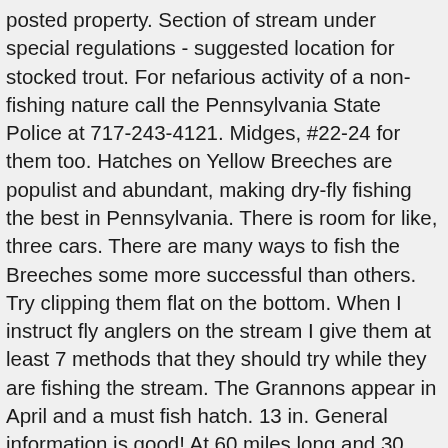posted property. Section of stream under special regulations - suggested location for stocked trout. For nefarious activity of a non-fishing nature call the Pennsylvania State Police at 717-243-4121. Midges, #22-24 for them too. Hatches on Yellow Breeches are populist and abundant, making dry-fly fishing the best in Pennsylvania. There is room for like, three cars. There are many ways to fish the Breeches some more successful than others. Try clipping them flat on the bottom. When I instruct fly anglers on the stream I give them at least 7 methods that they should try while they are fishing the stream. The Grannons appear in April and a must fish hatch. 13 in. General information is good! At 60 miles long and 30 miles wide, it's one of the largest lakes in the whole of the United States. It's about getting out and making memories," he says. There are 6 yellowfish species to choose from in … Penns Creek Penns Creek is not only one of the best trout fisheries in Pennsylvania, but it's one of the best spring creek trout fishing streams in the country. Buggers it is! This may not be the best week